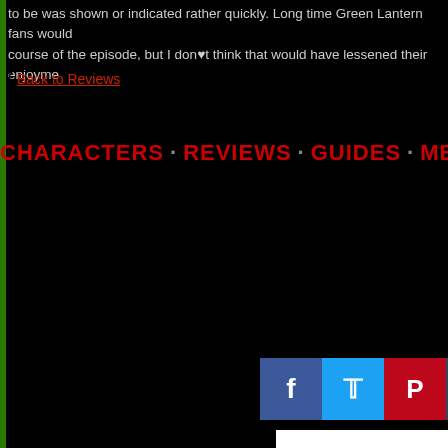to be was shown or indicated rather quickly. Long time Green Lantern fans would course of the episode, but I don’t think that would have lessened their enjoyme
[ Back to Reviews ]
CHARACTERS · REVIEWS · GUIDES · MEDIA · RELE
[Figure (screenshot): Social media share buttons: Facebook (blue), Twitter (light blue), Pinterest (red), Tumblr (dark blue)]
[Figure (screenshot): DC Comics on popgeek sidebar panel with image of DC Comics Solicitations]
DC Comics on popgee
DC Comics Solicitations Nov